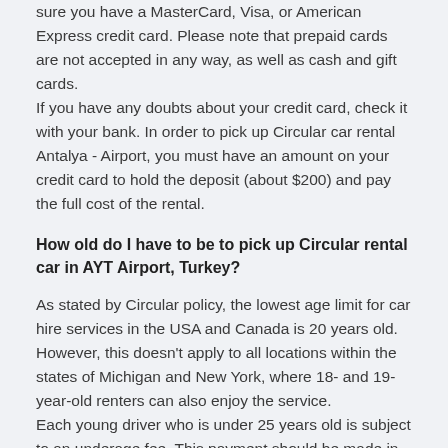sure you have a MasterCard, Visa, or American Express credit card. Please note that prepaid cards are not accepted in any way, as well as cash and gift cards. If you have any doubts about your credit card, check it with your bank. In order to pick up Circular car rental Antalya - Airport, you must have an amount on your credit card to hold the deposit (about $200) and pay the full cost of the rental.
How old do I have to be to pick up Circular rental car in AYT Airport, Turkey?
As stated by Circular policy, the lowest age limit for car hire services in the USA and Canada is 20 years old. However, this doesn't apply to all locations within the states of Michigan and New York, where 18- and 19-year-old renters can also enjoy the service. Each young driver who is under 25 years old is subject to an underage fee. This payment should be made in the company's office. If traveling on military or government orders, then you are authorized to rent a car starting from the age of 18 and avoid additional age surcharges at the